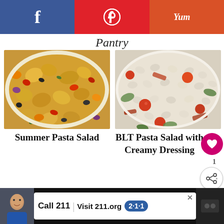Facebook | Pinterest | Yum
Pantry
[Figure (photo): Close-up photo of Summer Pasta Salad with rotini pasta, colorful vegetables including peppers, olives, and tomatoes]
Summer Pasta Salad
[Figure (photo): Close-up photo of BLT Pasta Salad with Creamy Dressing featuring small pasta, cherry tomatoes, lettuce, and bacon]
BLT Pasta Salad with Creamy Dressing
WHAT'S NEXT → Muffuletta Pasta Salad
[Figure (photo): Advertisement banner: Call 211 | Visit 211.org with 2-1-1 logo and child photo]